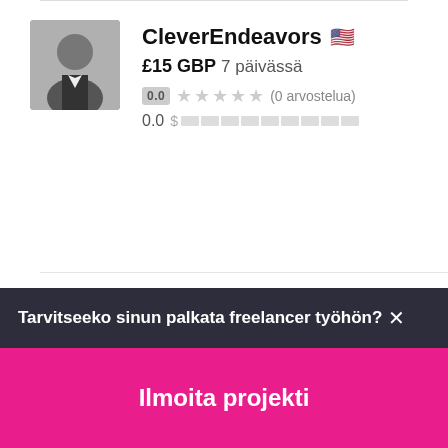CleverEndeavors 🇺🇸
£15 GBP 7 päivässä
0.0 ★★★★★ (0 arvostelua)
0.0
Taqitafsol 🇵🇰
£12 GBP 7 päivässä
Tarvitseeko sinun palkata freelancer työhön?
Ilmoita projekti